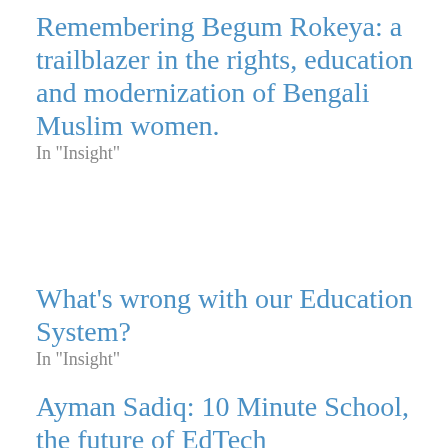Remembering Begum Rokeya: a trailblazer in the rights, education and modernization of Bengali Muslim women.
In "Insight"
What's wrong with our Education System?
In "Insight"
Ayman Sadiq: 10 Minute School, the future of EdTech